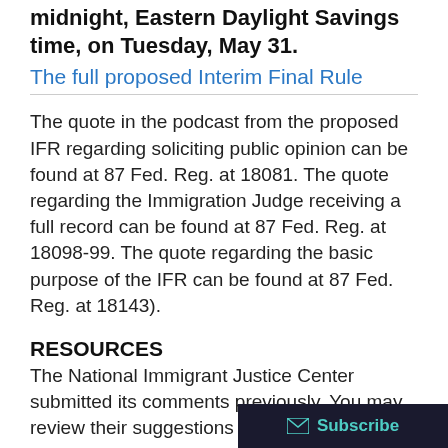midnight, Eastern Daylight Savings time, on Tuesday, May 31.
The full proposed Interim Final Rule
The quote in the podcast from the proposed IFR regarding soliciting public opinion can be found at 87 Fed. Reg. at 18081.  The quote regarding the Immigration Judge receiving a full record can be found at 87 Fed. Reg. at 18098-99.  The quote regarding the basic purpose of the IFR can be found at 87 Fed. Reg. at 18143).
RESOURCES
The National Immigrant Justice Center submitted its comments previously.  You may review their suggestions to provide y